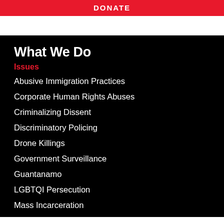DONATE
What We Do
Issues
Abusive Immigration Practices
Corporate Human Rights Abuses
Criminalizing Dissent
Discriminatory Policing
Drone Killings
Government Surveillance
Guantanamo
LGBTQI Persecution
Mass Incarceration
Muslim Profiling